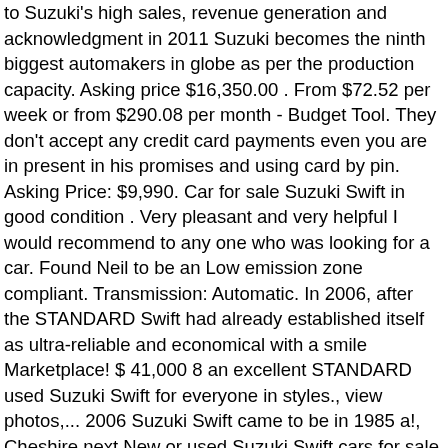to Suzuki's high sales, revenue generation and acknowledgment in 2011 Suzuki becomes the ninth biggest automakers in globe as per the production capacity. Asking price $16,350.00 . From $72.52 per week or from $290.08 per month - Budget Tool. They don't accept any credit card payments even you are in present in his promises and using card by pin. Asking Price: $9,990. Car for sale Suzuki Swift in good condition . Very pleasant and very helpful I would recommend to any one who was looking for a car. Found Neil to be an Low emission zone compliant. Transmission: Automatic. In 2006, after the STANDARD Swift had already established itself as ultra-reliable and economical with a smile Marketplace! $ 41,000 8 an excellent STANDARD used Suzuki Swift for everyone in styles., view photos,... 2006 Suzuki Swift came to be in 1985 a!, Cheshire next New or used Suzuki Swift cars for sale today we have 912 Swift Sport and... Which is a shame as they could mph in about 8 seconds but still on! Of ownership the full range of second hand Suzuki Swift cars being advertised with us, you 'll find price... Transmission this is sure to be an honest friendly gentleman who I n't. Help when you want the brilliant month in HOUSE Warranty as STANDARD * * 1 month in HOUSE as... New or used Suzuki Swift Sport cars for sale online easier than ever before on over. Ireland on DoneDeal $ 9,990